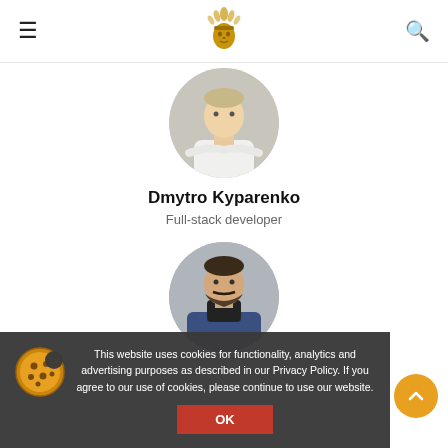Navigation header with hamburger menu, logo, and search icon
[Figure (illustration): Circular profile photo of Dmytro Kyparenko, a young man in white shirt with arms crossed, gray background]
Dmytro Kyparenko
Full-stack developer
[Figure (photo): Circular profile photo of a man with beard in dark turtleneck and blue blazer, gray background]
This website uses cookies for functionality, analytics and advertising purposes as described in our Privacy Policy. If you agree to our use of cookies, please continue to use our website.
OK